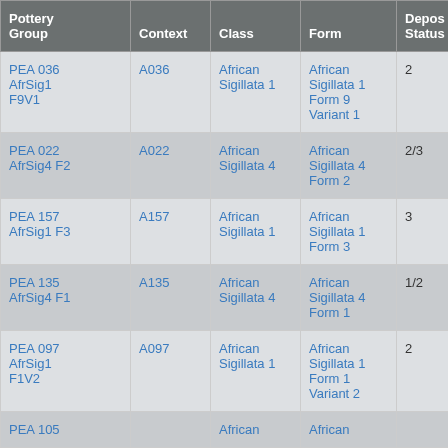| Pottery Group | Context | Class | Form | Depos Status | R Ct | R E |
| --- | --- | --- | --- | --- | --- | --- |
| PEA 036 AfrSig1 F9V1 | A036 | African Sigillata 1 | African Sigillata 1 Form 9 Variant 1 | 2 | 1 | 1 |
| PEA 022 AfrSig4 F2 | A022 | African Sigillata 4 | African Sigillata 4 Form 2 | 2/3 | 1 | 1 |
| PEA 157 AfrSig1 F3 | A157 | African Sigillata 1 | African Sigillata 1 Form 3 | 3 | 1 | 1 |
| PEA 135 AfrSig4 F1 | A135 | African Sigillata 4 | African Sigillata 4 Form 1 | 1/2 | 1 | 1 |
| PEA 097 AfrSig1 F1V2 | A097 | African Sigillata 1 | African Sigillata 1 Form 1 Variant 2 | 2 | 1 | 1 |
| PEA 105 |  | African | African |  |  |  |